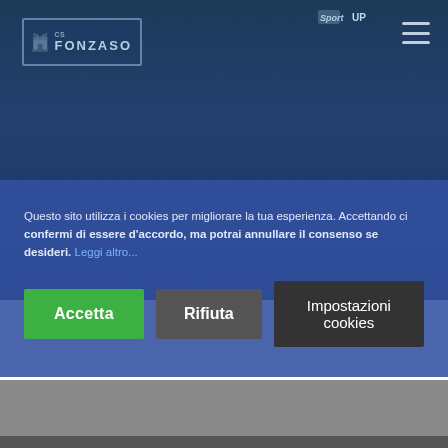[Figure (screenshot): CS Fonzaso website header with logo on a dark blue background showing a building/castle scene. Hamburger menu icon top right. SportUp branding partially visible at top.]
Questo sito utilizza i cookies per migliorare la tua esperienza. Accettando ci confermi di essere d'accordo, ma potrai annullare il consenso se desideri. Leggi altro...
Accetta
Rifiuta
Impostazioni cookies